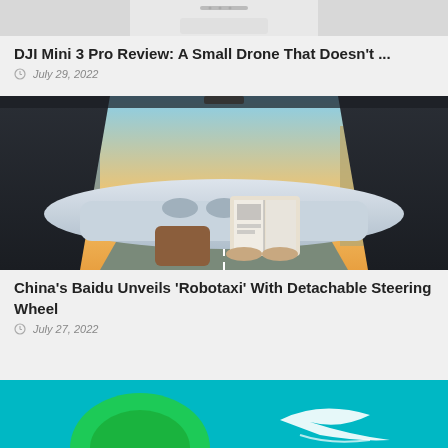[Figure (photo): Top portion of a DJI Mini 3 Pro drone product image, cropped at the top]
DJI Mini 3 Pro Review: A Small Drone That Doesn't ...
July 29, 2022
[Figure (photo): Interior view of a self-driving robotaxi from Baidu, showing the dashboard without a steering wheel, a person reading a book in the passenger area, and city streets visible through the windshield]
China's Baidu Unveils 'Robotaxi' With Detachable Steering Wheel
July 27, 2022
[Figure (photo): Bottom portion of a teal/turquoise colored graphic with a globe or earth illustration, partially cropped]